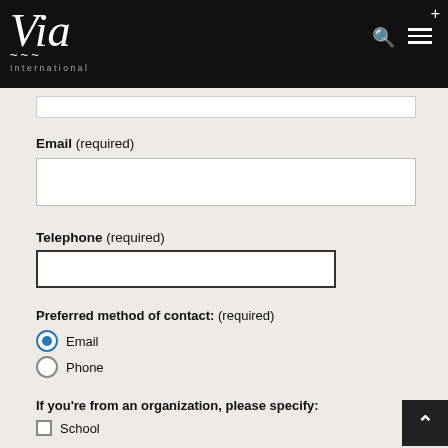Via International
Email (required)
Telephone (required)
Preferred method of contact: (required)
Email
Phone
If you're from an organization, please specify:
School